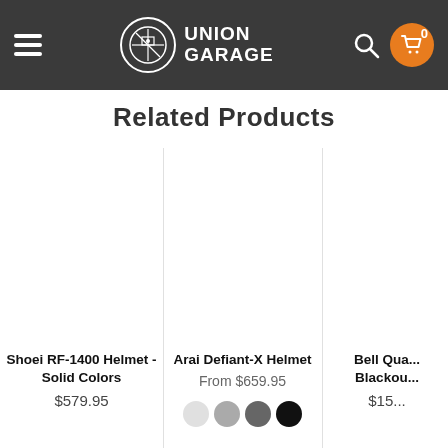Union Garage
Related Products
[Figure (photo): Product image area for Shoei RF-1400 Helmet - Solid Colors]
Shoei RF-1400 Helmet - Solid Colors
$579.95
[Figure (photo): Product image area for Arai Defiant-X Helmet]
Arai Defiant-X Helmet
From $659.95
[Figure (photo): Product image area for Bell Qualifier Blackout]
Bell Qua... Blackou...
$15...